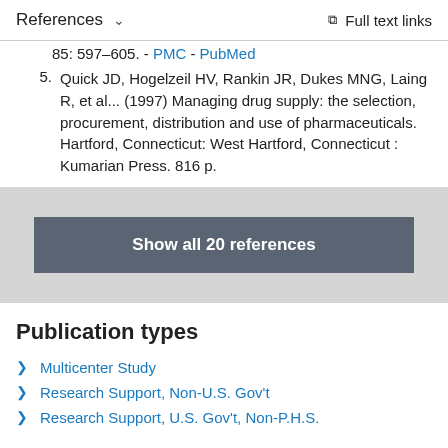References  Full text links
85: 597–605. - PMC - PubMed
5. Quick JD, Hogelzeil HV, Rankin JR, Dukes MNG, Laing R, et al... (1997) Managing drug supply: the selection, procurement, distribution and use of pharmaceuticals. Hartford, Connecticut: West Hartford, Connecticut : Kumarian Press. 816 p.
Show all 20 references
Publication types
Multicenter Study
Research Support, Non-U.S. Gov't
Research Support, U.S. Gov't, Non-P.H.S.